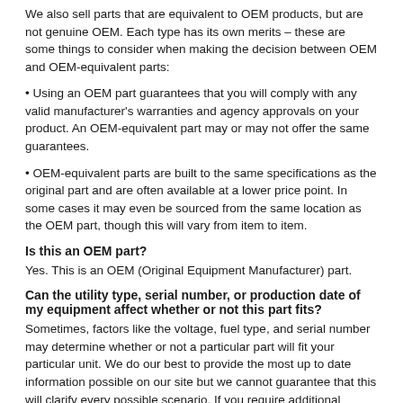We also sell parts that are equivalent to OEM products, but are not genuine OEM. Each type has its own merits – these are some things to consider when making the decision between OEM and OEM-equivalent parts:
• Using an OEM part guarantees that you will comply with any valid manufacturer's warranties and agency approvals on your product. An OEM-equivalent part may or may not offer the same guarantees.
• OEM-equivalent parts are built to the same specifications as the original part and are often available at a lower price point. In some cases it may even be sourced from the same location as the OEM part, though this will vary from item to item.
Is this an OEM part?
Yes. This is an OEM (Original Equipment Manufacturer) part.
Can the utility type, serial number, or production date of my equipment affect whether or not this part fits?
Sometimes, factors like the voltage, fuel type, and serial number may determine whether or not a particular part will fit your particular unit. We do our best to provide the most up to date information possible on our site but we cannot guarantee that this will clarify every possible scenario. If you require additional confirmation that this part is the